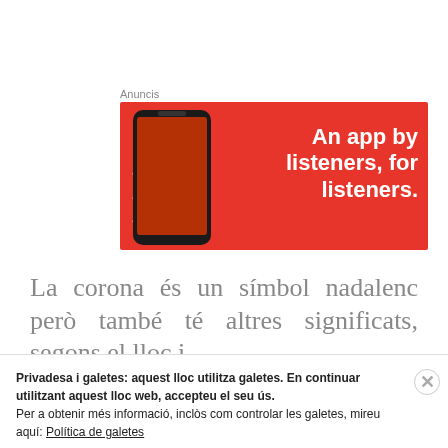Anuncis
[Figure (illustration): Advertisement banner with red background showing a smartphone with text 'Distrib' and white text 'An app by listeners, for listeners.']
La corona és un símbol nadalenc però també té altres significats, segons el lloc i
Privadesa i galetes: aquest lloc utilitza galetes. En continuar utilitzant aquest lloc web, accepteu el seu ús.
Per a obtenir més informació, inclòs com controlar les galetes, mireu aquí: Política de galetes
Tanca i accepta